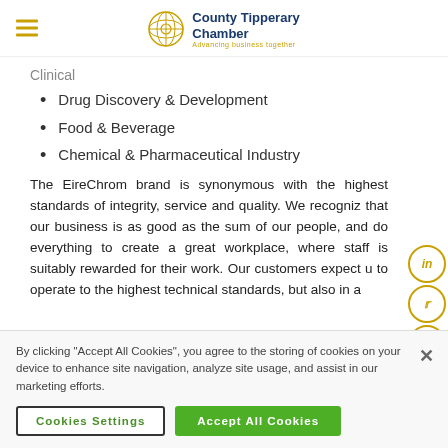County Tipperary Chamber
Clinical
Drug Discovery & Development
Food & Beverage
Chemical & Pharmaceutical Industry
The EireChrom brand is synonymous with the highest standards of integrity, service and quality. We recognize that our business is as good as the sum of our people, and do everything to create a great workplace, where staff is suitably rewarded for their work. Our customers expect us to operate to the highest technical standards, but also in a
By clicking "Accept All Cookies", you agree to the storing of cookies on your device to enhance site navigation, analyze site usage, and assist in our marketing efforts.